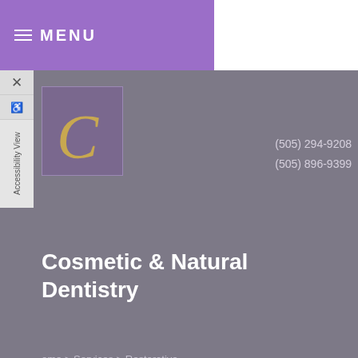≡ MENU
[Figure (logo): Decorative C logo in gold italic script on purple background, representing Cosmetic & Natural Dentistry]
(505) 294-9208
(505) 896-9399
Cosmetic & Natural Dentistry
Home > Services > Restorative
Restorative Dentistry
[Figure (photo): A dental technician or dentist working on dental models/prosthetics in a lab setting, wearing glasses and a white coat]